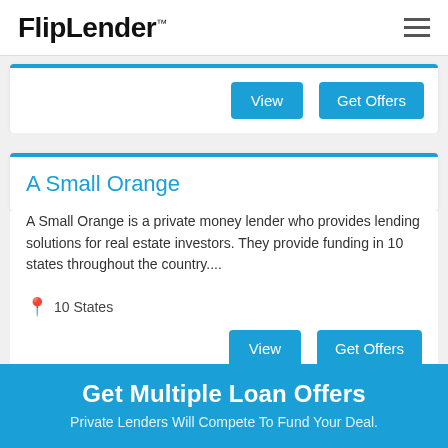FlipLender™
A Small Orange
A Small Orange is a private money lender who provides lending solutions for real estate investors. They provide funding in 10 states throughout the country....
10 States
Get Multiple Loan Offers
Private Lenders Will Compete To Fund Your Deal.